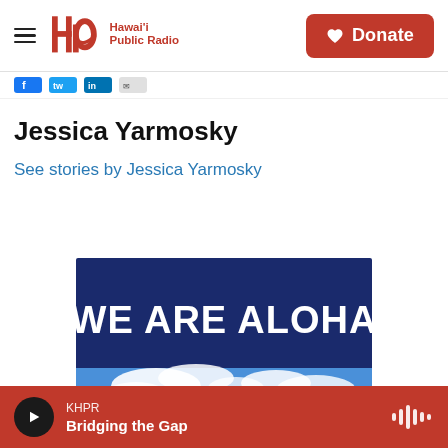Hawai'i Public Radio — Donate
Jessica Yarmosky
See stories by Jessica Yarmosky
[Figure (illustration): We Are Aloha banner image showing blue sky, clouds, and mountain peaks with bold white text 'WE ARE ALOHA' on a dark blue background.]
KHPR — Bridging the Gap